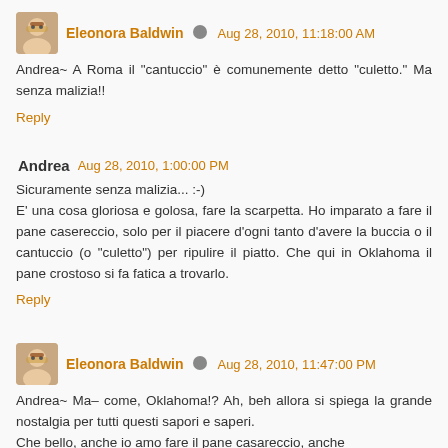Eleonora Baldwin  Aug 28, 2010, 11:18:00 AM
Andrea~ A Roma il "cantuccio" è comunemente detto "culetto." Ma senza malizia!!
Reply
Andrea  Aug 28, 2010, 1:00:00 PM
Sicuramente senza malizia... :-)
E' una cosa gloriosa e golosa, fare la scarpetta. Ho imparato a fare il pane casereccio, solo per il piacere d'ogni tanto d'avere la buccia o il cantuccio (o "culetto") per ripulire il piatto. Che qui in Oklahoma il pane crostoso si fa fatica a trovarlo.
Reply
Eleonora Baldwin  Aug 28, 2010, 11:47:00 PM
Andrea~ Ma– come, Oklahoma!? Ah, beh allora si spiega la grande nostalgia per tutti questi sapori e saperi.
Che bello, anche io amo fare il pane casareccio, anche